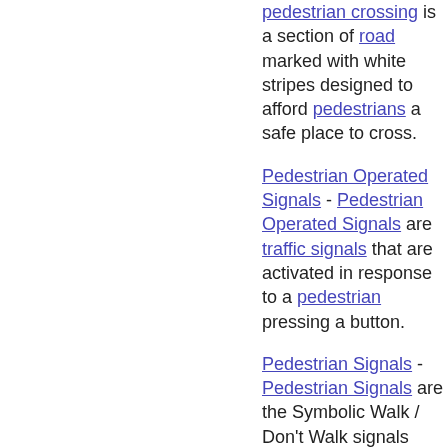pedestrian crossing is a section of road marked with white stripes designed to afford pedestrians a safe place to cross.
Pedestrian Operated Signals - Pedestrian Operated Signals are traffic signals that are activated in response to a pedestrian pressing a button.
Pedestrian Signals - Pedestrian Signals are the Symbolic Walk / Don't Walk signals found at signalised intersections, and at mid-block pedestrian crossings controlled by Traffic Lights.
Pedestrian Tunnel - [[include pedestrian-underpass]]
Pedestrian Underpass - A Pedestrian Underpass or Pedestrian Tunnel is a a specially constructed